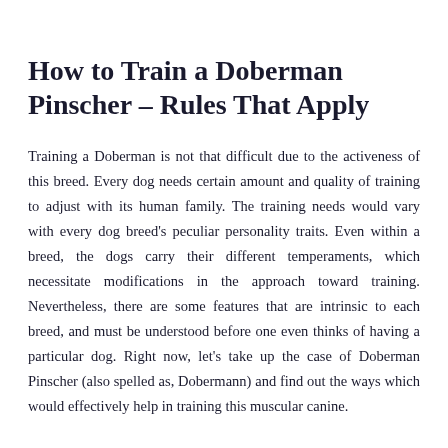How to Train a Doberman Pinscher – Rules That Apply
Training a Doberman is not that difficult due to the activeness of this breed. Every dog needs certain amount and quality of training to adjust with its human family. The training needs would vary with every dog breed's peculiar personality traits. Even within a breed, the dogs carry their different temperaments, which necessitate modifications in the approach toward training. Nevertheless, there are some features that are intrinsic to each breed, and must be understood before one even thinks of having a particular dog. Right now, let's take up the case of Doberman Pinscher (also spelled as, Dobermann) and find out the ways which would effectively help in training this muscular canine.